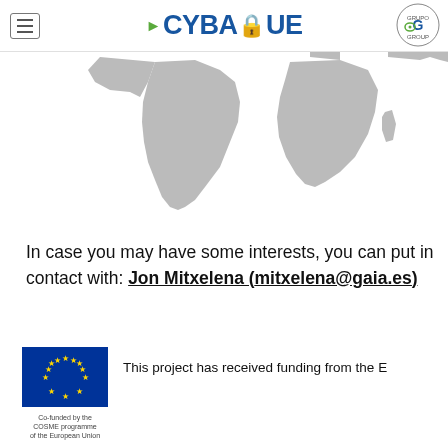CYBASQUE
[Figure (map): World map silhouette in gray showing continents, partial view focused on Americas and Africa]
In case you may have some interests, you can put in contact with: Jon Mitxelena (mitxelena@gaia.es)
[Figure (logo): EU flag logo with stars on blue background, co-funded by the COSME programme of the European Union]
This project has received funding from the E...